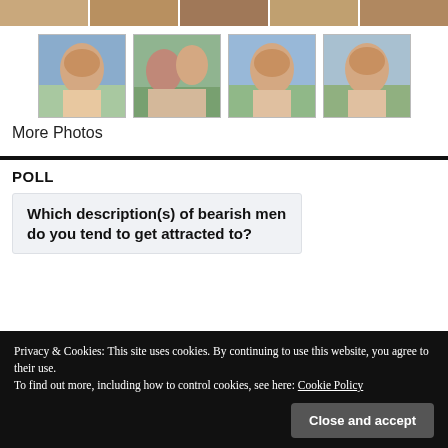[Figure (photo): Partial photo strip at top of page showing cropped images of people outdoors]
[Figure (photo): Row of four photos showing a shirtless heavyset man with blond hair, outdoors]
More Photos
POLL
Which description(s) of bearish men do you tend to get attracted to?
Privacy & Cookies: This site uses cookies. By continuing to use this website, you agree to their use.
To find out more, including how to control cookies, see here: Cookie Policy
Close and accept
Tall